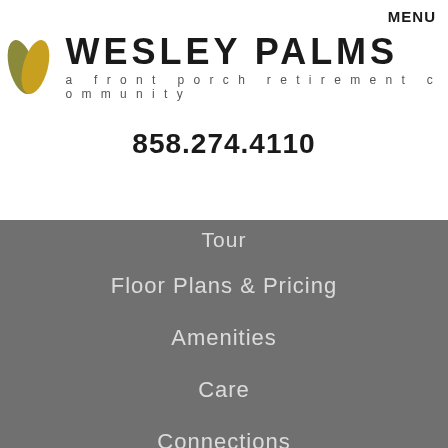[Figure (logo): Wesley Palms logo with two leaf/petal shapes in olive green and golden yellow, alongside bold text WESLEY PALMS and tagline 'a front porch retirement community']
MENU
858.274.4110
Tour
Floor Plans & Pricing
Amenities
Care
Connections
Next Steps
Contact Us